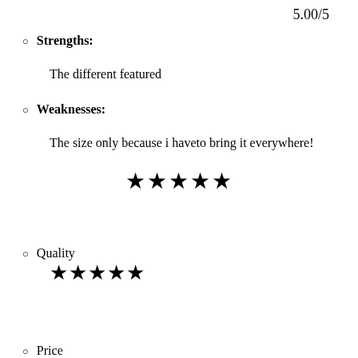5.00/5
Strengths:
The different featured
Weaknesses:
The size only because i haveto bring it everywhere!
[Figure (other): 5 filled stars rating]
Quality
[Figure (other): 5 filled stars rating for Quality]
Price